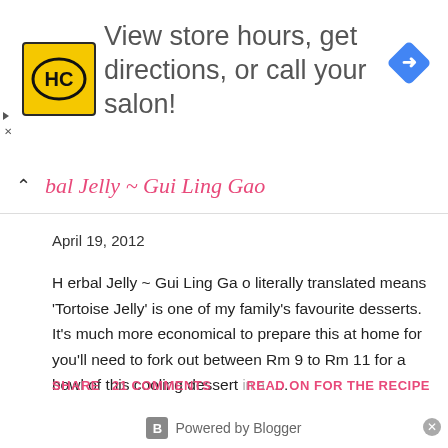[Figure (other): Advertisement banner: HC salon logo (yellow square with HC text), text 'View store hours, get directions, or call your salon!', blue navigation diamond icon on right]
bal Jelly ~ Gui Ling Gao
April 19, 2012
H erbal Jelly ~ Gui Ling Ga o literally translated means 'Tortoise Jelly' is one of my family's favourite desserts.  It's much more economical to prepare this at home for you'll need to fork out between Rm 9 to Rm 11 for a bowl of this cooling dessert in a ...
SHARE    21 COMMENTS    READ ON FOR THE RECIPE
Powered by Blogger